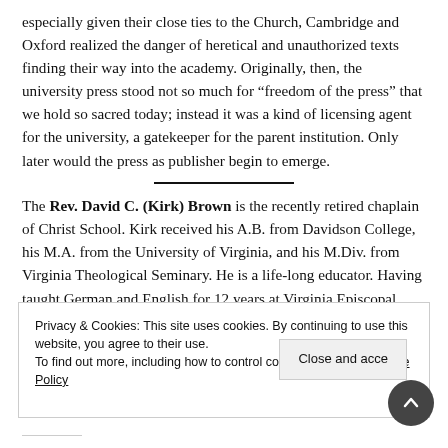especially given their close ties to the Church, Cambridge and Oxford realized the danger of heretical and unauthorized texts finding their way into the academy. Originally, then, the university press stood not so much for “freedom of the press” that we hold so sacred today; instead it was a kind of licensing agent for the university, a gatekeeper for the parent institution. Only later would the press as publisher begin to emerge.
The Rev. David C. (Kirk) Brown is the recently retired chaplain of Christ School. Kirk received his A.B. from Davidson College, his M.A. from the University of Virginia, and his M.Div. from Virginia Theological Seminary. He is a life-long educator. Having taught German and English for 12 years at Virginia Episcopal School, he then attended seminary and was ordained an Episcopal
Privacy & Cookies: This site uses cookies. By continuing to use this website, you agree to their use.
To find out more, including how to control cookies, see here: Cookie Policy